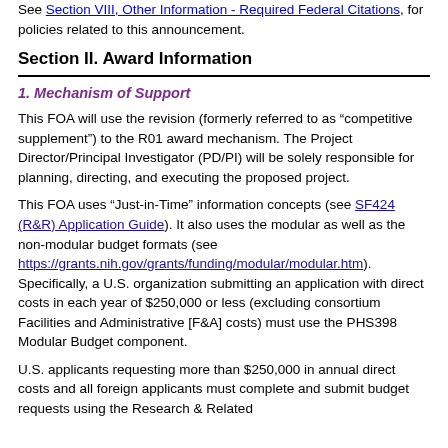See Section VIII, Other Information - Required Federal Citations, for policies related to this announcement.
Section II. Award Information
1. Mechanism of Support
This FOA will use the revision (formerly referred to as “competitive supplement”) to the R01 award mechanism. The Project Director/Principal Investigator (PD/PI) will be solely responsible for planning, directing, and executing the proposed project.
This FOA uses “Just-in-Time” information concepts (see SF424 (R&R) Application Guide). It also uses the modular as well as the non-modular budget formats (see https://grants.nih.gov/grants/funding/modular/modular.htm). Specifically, a U.S. organization submitting an application with direct costs in each year of $250,000 or less (excluding consortium Facilities and Administrative [F&A] costs) must use the PHS398 Modular Budget component.
U.S. applicants requesting more than $250,000 in annual direct costs and all foreign applicants must complete and submit budget requests using the Research & Related